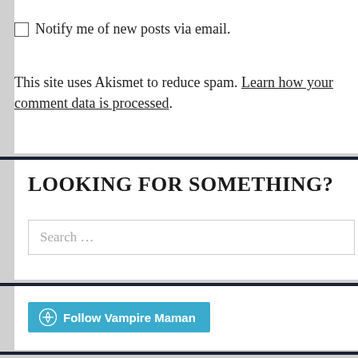Notify me of new posts via email.
This site uses Akismet to reduce spam. Learn how your comment data is processed.
LOOKING FOR SOMETHING?
Search …
Follow Vampire Maman